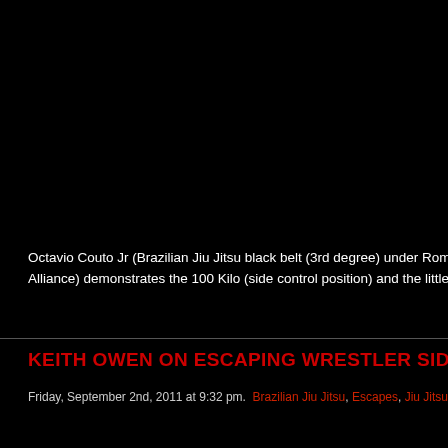Octavio Couto Jr (Brazilian Jiu Jitsu black belt (3rd degree) under Romero "Jacare" Alliance) demonstrates the 100 Kilo (side control position) and the little tricks to rea...
KEITH OWEN ON ESCAPING WRESTLER SIDE CONTROL...
Friday, September 2nd, 2011 at 9:32 pm. Brazilian Jiu Jitsu, Escapes, Jiu Jitsu Videos, Side Control...